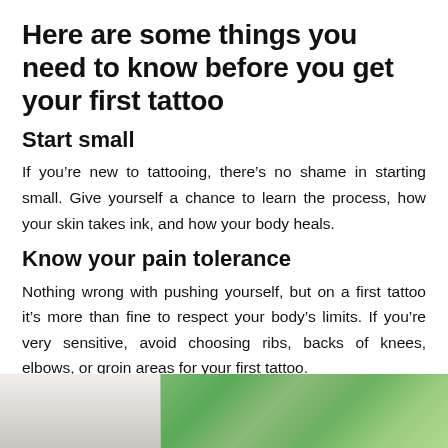Here are some things you need to know before you get your first tattoo
Start small
If you’re new to tattooing, there’s no shame in starting small. Give yourself a chance to learn the process, how your skin takes ink, and how your body heals.
Know your pain tolerance
Nothing wrong with pushing yourself, but on a first tattoo it’s more than fine to respect your body’s limits. If you’re very sensitive, avoid choosing ribs, backs of knees, elbows, or groin areas for your first tattoo.
[Figure (photo): Partial photo of a person in a white shirt next to green leafy plants, partially visible at the bottom of the page.]